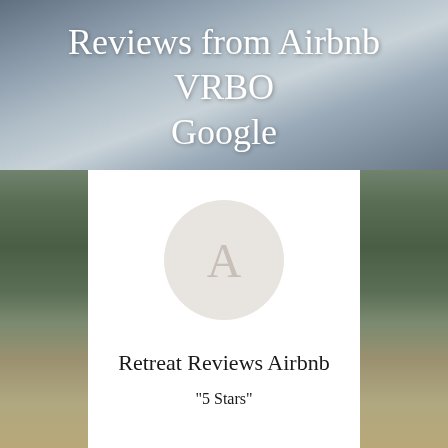[Figure (photo): Outdoor landscape background with dark stormy sky, clouds, dense forest tree line, and dirt ground in foreground]
Reviews from Airbnb VRBO Google
[Figure (illustration): White card panel with a grey circular avatar placeholder showing the letter A]
Retreat Reviews Airbnb
"5 Stars"